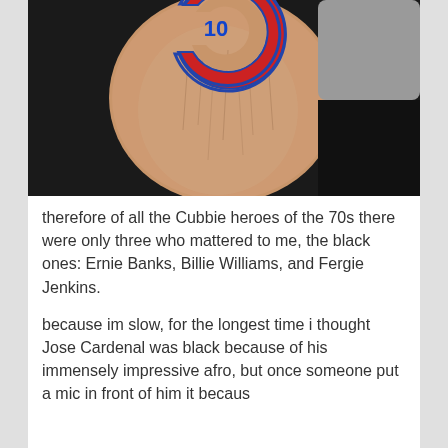[Figure (photo): Close-up photograph of a person's forearm/leg with a Chicago Cubs logo tattoo (red C with blue number) visible at the top. The skin is light-toned with visible hair and texture.]
therefore of all the Cubbie heroes of the 70s there were only three who mattered to me, the black ones: Ernie Banks, Billie Williams, and Fergie Jenkins.
because im slow, for the longest time i thought Jose Cardenal was black because of his immensely impressive afro, but once someone put a mic in front of him it becaus...